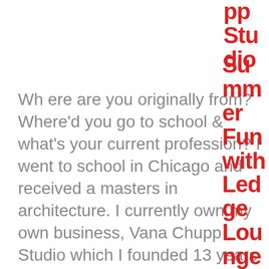pp Studio
Where are you originally from? Where'd you go to school & what's your current profession? I went to school in Chicago and received a masters in architecture. I currently own my own business, Vana Chupp Studio which I founded 13 years ago. I am the creative...
Summer Fun with Ledge Lounge